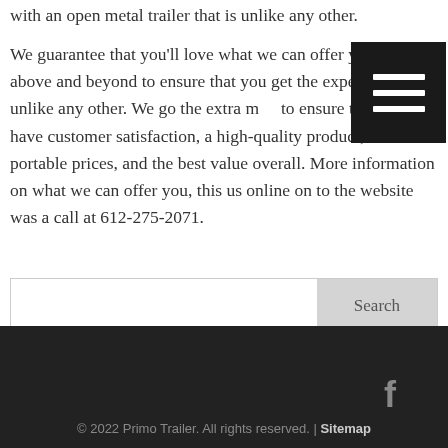with an open metal trailer that is unlike any other.
We guarantee that you'll love what we can offer you. We go above and beyond to ensure that you get the experience is unlike any other. We go the extra mile to ensure that you have customer satisfaction, a high-quality product, a portable prices, and the best value overall. More information on what we can offer you, this us online on to the website was a call at 612-275-2071.
[Figure (other): Hamburger menu icon: dark black square with three horizontal white lines]
Search
© 2022 Primo Trailer. All rights reserved. | Sitemap